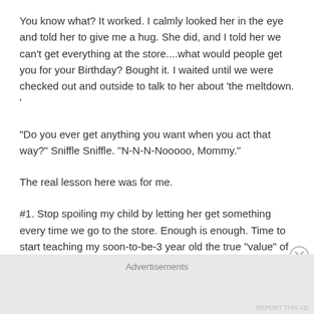You know what?  It worked.  I calmly looked her in the eye and told her to give me a hug.  She did, and I told her we can't get everything at the store....what would people get you for your Birthday?  Bought it.  I waited until we were checked out and outside to talk to her about 'the meltdown. '
"Do you ever get anything you want when you act that way?" Sniffle Sniffle.  "N-N-N-Nooooo, Mommy."
The real lesson here was for me.
#1.  Stop spoiling my child by letting her get something every time we go to the store.  Enough is enough.  Time to start teaching my soon-to-be-3 year old the true "value" of the 'dollar bin.'
Advertisements